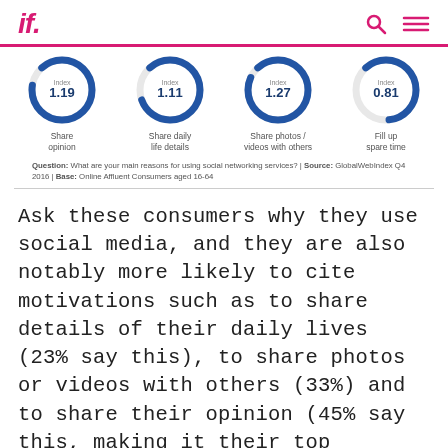if.
[Figure (donut-chart): Share opinion]
Question: What are your main reasons for using social networking services? | Source: GlobalWebIndex Q4 2016 | Base: Online Affluent Consumers aged 16-64
Ask these consumers why they use social media, and they are also notably more likely to cite motivations such as to share details of their daily lives (23% say this), to share photos or videos with others (33%) and to share their opinion (45% say this, making it their top motivation overall). Clearly, social media serves